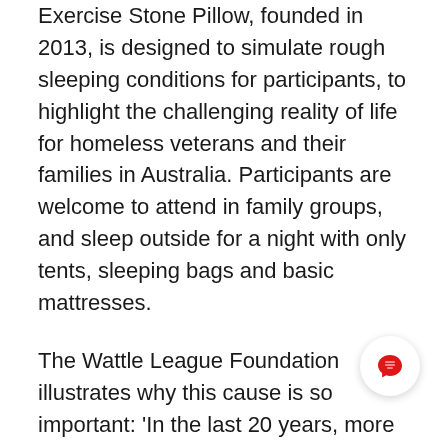Exercise Stone Pillow, founded in 2013, is designed to simulate rough sleeping conditions for participants, to highlight the challenging reality of life for homeless veterans and their families in Australia. Participants are welcome to attend in family groups, and sleep outside for a night with only tents, sleeping bags and basic mattresses.
The Wattle League Foundation illustrates why this cause is so important: 'In the last 20 years, more than 45,000 Australians have served in peacekeeping operations and in areas of conflict in East Timor, Afghanistan, and Iraq. Thousands of those veterans are currently living with a mental health illness or will experience a mental health illness once they return home.
Common mental health problems among veterans include depression, anxiety, substance